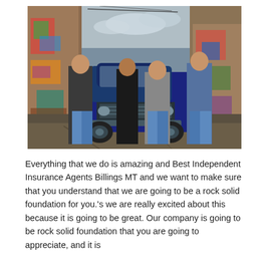[Figure (photo): A group of four people (two young men, a woman, and an older man) posing in front of a vintage blue pickup truck in a graffiti-covered urban alley.]
Everything that we do is amazing and Best Independent Insurance Agents Billings MT and we want to make sure that you understand that we are going to be a rock solid foundation for you.'s we are really excited about this because it is going to be great. Our company is going to be rock solid foundation that you are going to appreciate, and it is